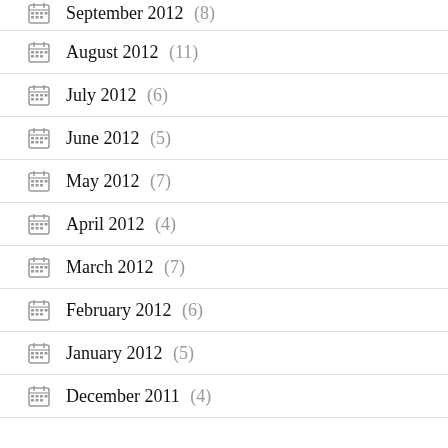September 2012 (8)
August 2012 (11)
July 2012 (6)
June 2012 (5)
May 2012 (7)
April 2012 (4)
March 2012 (7)
February 2012 (6)
January 2012 (5)
December 2011 (4)